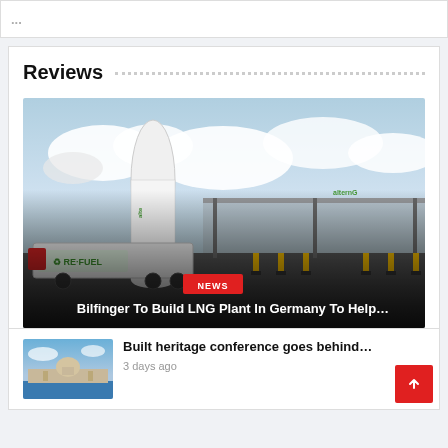Reviews
[Figure (photo): LNG fueling station with a white cylindrical tank and a truck labeled 'REFUEL', with a canopy over the fuel pumps and 'alternG' branding visible. Cloudy sky backdrop.]
NEWS
Bilfinger To Build LNG Plant In Germany To Help…
[Figure (photo): Aerial or waterfront view of a city with a prominent domed cathedral, under a blue sky with some clouds.]
Built heritage conference goes behind…
3 days ago